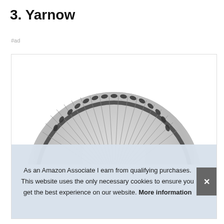3. Yarnow
#ad
[Figure (photo): Product photo of a round stainless steel sink strainer/drain cover with radial ribbed pattern, viewed from above, showing only the top half of the circular drain]
As an Amazon Associate I earn from qualifying purchases. This website uses the only necessary cookies to ensure you get the best experience on our website. More information